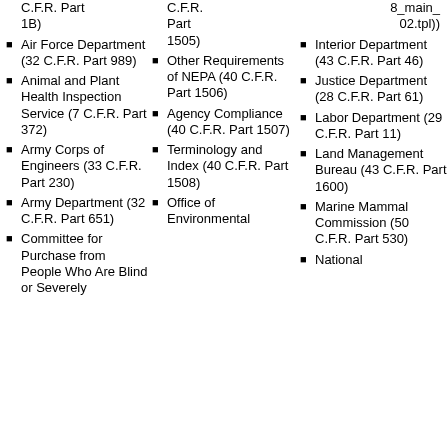C.F.R. Part 1B)
Air Force Department (32 C.F.R. Part 989)
Animal and Plant Health Inspection Service (7 C.F.R. Part 372)
Army Corps of Engineers (33 C.F.R. Part 230)
Army Department (32 C.F.R. Part 651)
Committee for Purchase from People Who Are Blind or Severely
C.F.R. Part 1505)
Other Requirements of NEPA (40 C.F.R. Part 1506)
Agency Compliance (40 C.F.R. Part 1507)
Terminology and Index (40 C.F.R. Part 1508)
Office of Environmental
8_main_02.tpl))
Interior Department (43 C.F.R. Part 46)
Justice Department (28 C.F.R. Part 61)
Labor Department (29 C.F.R. Part 11)
Land Management Bureau (43 C.F.R. Part 1600)
Marine Mammal Commission (50 C.F.R. Part 530)
National